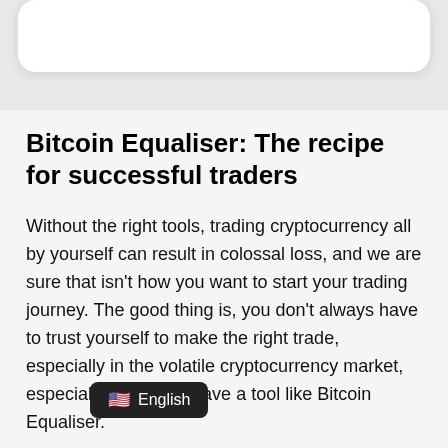Bitcoin Equaliser: The recipe for successful traders
Without the right tools, trading cryptocurrency all by yourself can result in colossal loss, and we are sure that isn't how you want to start your trading journey. The good thing is, you don't always have to trust yourself to make the right trade, especially in the volatile cryptocurrency market, especially when you have a tool like Bitcoin Equaliser.
For starters, here are some incredible perks that come with using Bitcoin Equaliser platform:
It tak… …to a whole new level